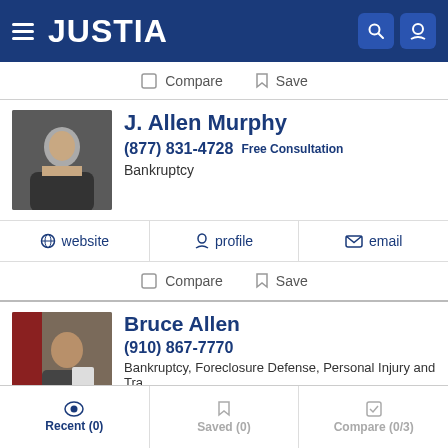JUSTIA
Compare  Save
J. Allen Murphy
(877) 831-4728  Free Consultation
Bankruptcy
website  profile  email
Compare  Save
Bruce Allen
(910) 867-7770
Bankruptcy, Foreclosure Defense, Personal Injury and Tra...
Recent (0)  Saved (0)  Compare (0/3)